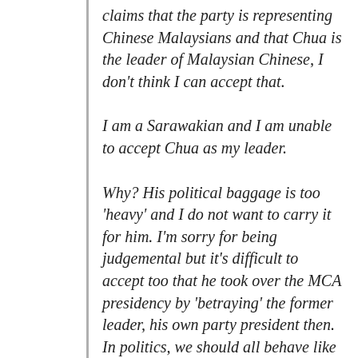claims that the party is representing Chinese Malaysians and that Chua is the leader of Malaysian Chinese, I don't think I can accept that.
I am a Sarawakian and I am unable to accept Chua as my leader.
Why? His political baggage is too 'heavy' and I do not want to carry it for him. I'm sorry for being judgemental but it's difficult to accept too that he took over the MCA presidency by 'betraying' the former leader, his own party president then. In politics, we should all behave like